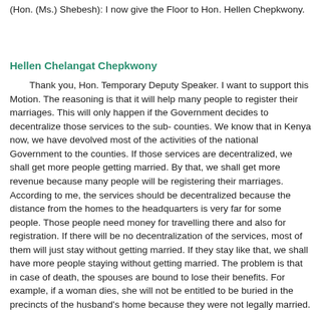(Hon. (Ms.) Shebesh): I now give the Floor to Hon. Hellen Chepkwony.
Hellen Chelangat Chepkwony
Thank you, Hon. Temporary Deputy Speaker. I want to support this Motion. The reasoning is that it will help many people to register their marriages. This will only happen if the Government decides to decentralize those services to the sub- counties. We know that in Kenya now, we have devolved most of the activities of the national Government to the counties. If those services are decentralized, we shall get more people getting married. By that, we shall get more revenue because many people will be registering their marriages. According to me, the services should be decentralized because the distance from the homes to the headquarters is very far for some people. Those people need money for travelling there and also for registration. If there will be no decentralization of the services, most of them will just stay without getting married. If they stay like that, we shall have more people staying without getting married. The problem is that in case of death, the spouses are bound to lose their benefits. For example, if a woman dies, she will not be entitled to be buried in the precincts of the husband's home because they were not legally married. So, Hon. Temporary Deputy Speaker, if the